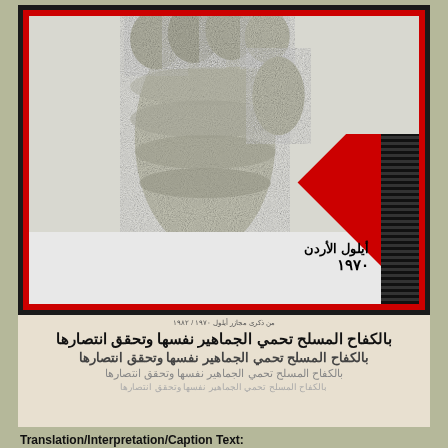[Figure (illustration): Book or magazine cover showing a raised fist illustration in black and white, with a red border frame and a diagonal red stripe in the lower right corner. Arabic text overlaid on the stripe area reads lines related to Jordan 1970.]
بالكفاح المسلح تحمي الجماهير نفسها وتحقق انتصارها (repeated four times in decreasing size/opacity)
Translation/Interpretation/Caption Text: Arabic translation: